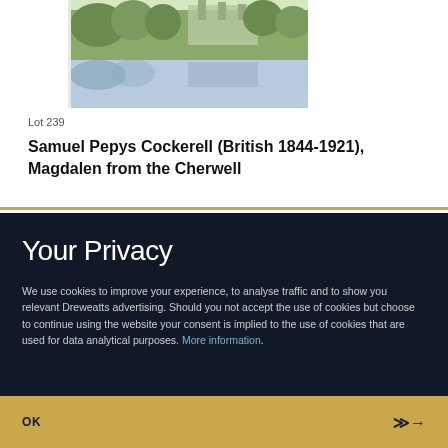[Figure (photo): Painting of Magdalen College viewed from the Cherwell river, showing the college tower and buildings reflected in the water, surrounded by trees.]
Lot 239
Samuel Pepys Cockerell (British 1844-1921), Magdalen from the Cherwell
Your Privacy
We use cookies to improve your experience, to analyse traffic and to show you relevant Dreweatts advertising. Should you not accept the use of cookies but choose to continue using the website your consent is implied to the use of cookies that are used for data analytical purposes. More information.
OK